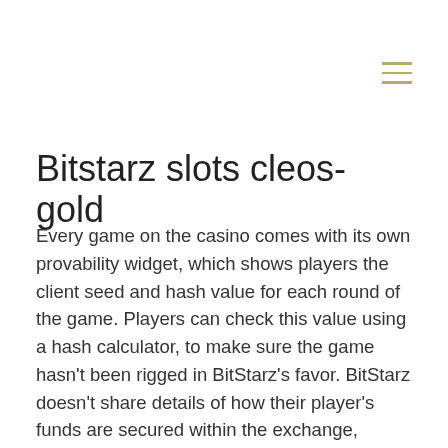Bitstarz slots cleos-gold
Every game on the casino comes with its own provability widget, which shows players the client seed and hash value for each round of the game. Players can check this value using a hash calculator, to make sure the game hasn't been rigged in BitStarz's favor. BitStarz doesn't share details of how their player's funds are secured within the exchange, however, they do enable two-factor authentication (2FA) through Google Authenticator, which makes logging in and protecting your account much safer. Overall, BitStarz has a good safety track record, with no major security incidents in its history, bitstarz slots cleos-gold. BitStarz absolutely excels in customer service, hiring only